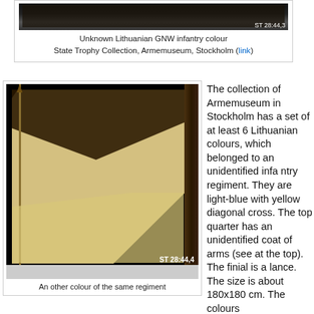[Figure (photo): Partial view of an unknown Lithuanian GNW infantry colour, showing a dark background with label ST 28:44,3. State Trophy Collection, Armemuseum, Stockholm.]
Unknown Lithuanian GNW infantry colour
State Trophy Collection, Armemuseum, Stockholm (link)
[Figure (photo): An other colour of the same regiment. Shows a light cream/yellow flag with dark decorations, label ST 28:44,4. Finial is a lance.]
An other colour of the same regiment
The collection of Armemuseum in Stockholm has a set of at least 6 Lithuanian colours, which belonged to an unidentified infantry regiment. They are light-blue with yellow diagonal cross. The top quarter has an unidentified coat of arms (see at the top). The finial is a lance. The size is about 180x180 cm. The colours